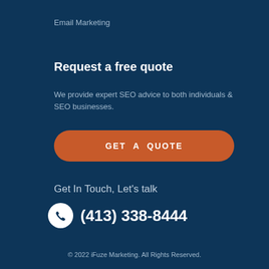Email Marketing
Request a free quote
We provide expert SEO advice to both individuals & SEO businesses.
[Figure (other): Orange rounded button with text GET A QUOTE]
Get In Touch, Let's talk
[Figure (other): Phone icon circle with phone number (413) 338-8444]
© 2022 iFuze Marketing. All Rights Reserved.